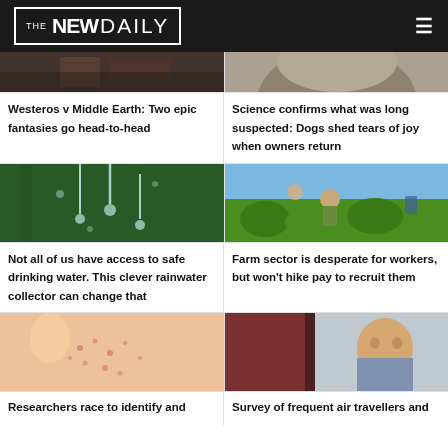THE NEW DAILY
[Figure (photo): Top-left: dark moody fantasy scene]
Westeros v Middle Earth: Two epic fantasies go head-to-head
[Figure (photo): Top-right: close-up of dog face]
Science confirms what was long suspected: Dogs shed tears of joy when owners return
[Figure (photo): Middle-left: rainwater droplets on green plant]
Not all of us have access to safe drinking water. This clever rainwater collector can change that
[Figure (photo): Middle-right: farm workers in field with crops]
Farm sector is desperate for workers, but won't hike pay to recruit them
[Figure (photo): Bottom-left: child's back with skin rash]
Researchers race to identify and...
[Figure (photo): Bottom-right: man looking stressed on airplane]
Survey of frequent air travellers and...